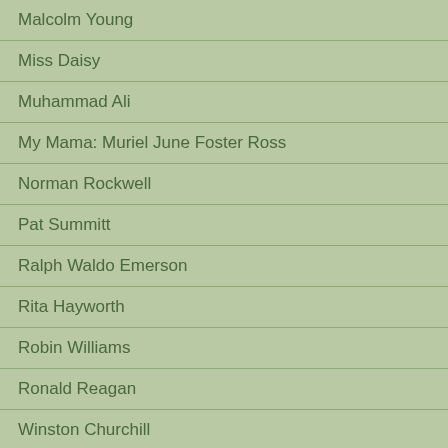Malcolm Young
Miss Daisy
Muhammad Ali
My Mama: Muriel June Foster Ross
Norman Rockwell
Pat Summitt
Ralph Waldo Emerson
Rita Hayworth
Robin Williams
Ronald Reagan
Winston Churchill
Woodrow Wilson
Woody Guthrie
Zelda Fitzgerald